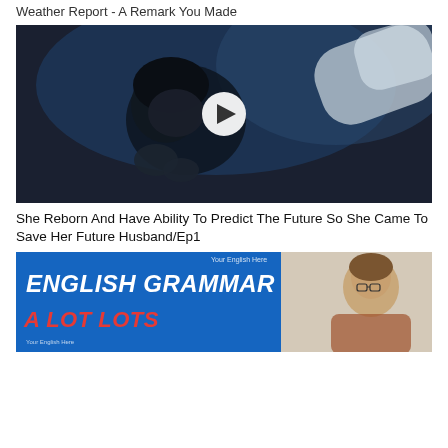Weather Report - A Remark You Made
[Figure (screenshot): Dark cinematic video thumbnail showing a person lying down with blue lighting and a white play button overlay]
She Reborn And Have Ability To Predict The Future So She Came To Save Her Future Husband/Ep1
[Figure (screenshot): English Grammar lesson thumbnail with blue banner saying ENGLISH GRAMMAR and red text A LOT LOTS, with a presenter on the right side]